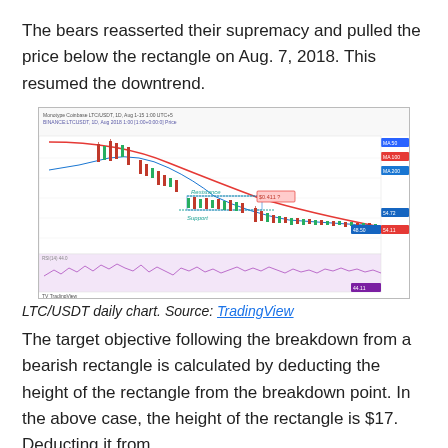The bears reasserted their supremacy and pulled the price below the rectangle on Aug. 7, 2018. This resumed the downtrend.
[Figure (continuous-plot): LTC/USDT daily candlestick chart from TradingView showing a downtrend with a bearish rectangle pattern marked with Resistance and Support labels, a red MA curve descending from top, a blue MA curve, and a lower oscillator panel with a purple-shaded area.]
LTC/USDT daily chart. Source: TradingView
The target objective following the breakdown from a bearish rectangle is calculated by deducting the height of the rectangle from the breakdown point. In the above case, the height of the rectangle is $17. Deducting it from